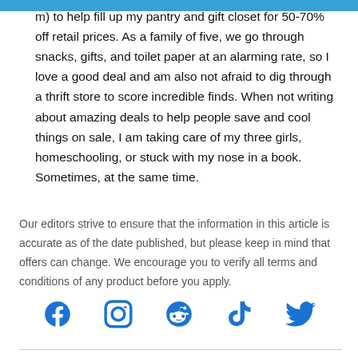m) to help fill up my pantry and gift closet for 50-70% off retail prices. As a family of five, we go through snacks, gifts, and toilet paper at an alarming rate, so I love a good deal and am also not afraid to dig through a thrift store to score incredible finds. When not writing about amazing deals to help people save and cool things on sale, I am taking care of my three girls, homeschooling, or stuck with my nose in a book. Sometimes, at the same time.
Our editors strive to ensure that the information in this article is accurate as of the date published, but please keep in mind that offers can change. We encourage you to verify all terms and conditions of any product before you apply.
[Figure (other): Social media icons row: Facebook, Instagram, Reddit, TikTok, Twitter in blue]